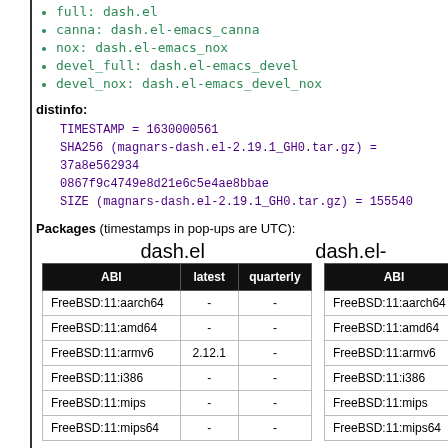full: dash.el
canna: dash.el-emacs_canna
nox: dash.el-emacs_nox
devel_full: dash.el-emacs_devel
devel_nox: dash.el-emacs_devel_nox
distinfo:
TIMESTAMP = 1630000561
SHA256 (magnars-dash.el-2.19.1_GH0.tar.gz) = 37a8e5629340867f9c4749e8d21e6c5e4ae8bbae
SIZE (magnars-dash.el-2.19.1_GH0.tar.gz) = 155540
Packages (timestamps in pop-ups are UTC):
| ABI | latest | quarterly |
| --- | --- | --- |
| FreeBSD:11:aarch64 | - | - |
| FreeBSD:11:amd64 | - | - |
| FreeBSD:11:armv6 | 2.12.1 | - |
| FreeBSD:11:i386 | - | - |
| FreeBSD:11:mips | - | - |
| FreeBSD:11:mips64 | - | - |
| ABI |
| --- |
| FreeBSD:11:aarch64 |
| FreeBSD:11:amd64 |
| FreeBSD:11:armv6 |
| FreeBSD:11:i386 |
| FreeBSD:11:mips |
| FreeBSD:11:mips64 |